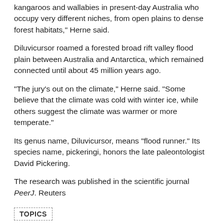kangaroos and wallabies in present-day Australia who occupy very different niches, from open plains to dense forest habitats,” Herne said.
Diluvicursor roamed a forested broad rift valley flood plain between Australia and Antarctica, which remained connected until about 45 million years ago.
“The jury’s out on the climate,” Herne said. “Some believe that the climate was cold with winter ice, while others suggest the climate was warmer or more temperate.”
Its genus name, Diluvicursor, means “flood runner.” Its species name, pickeringi, honors the late paleontologist David Pickering.
The research was published in the scientific journal PeerJ. Reuters
TOPICS